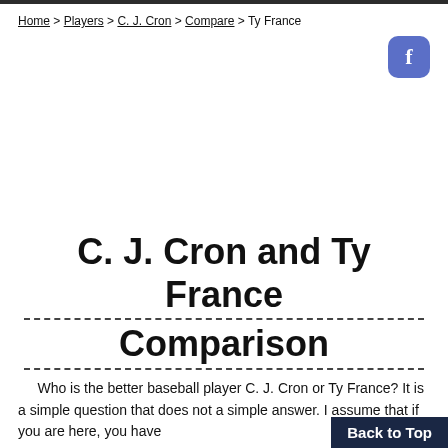Home > Players > C. J. Cron > Compare > Ty France
C. J. Cron and Ty France Comparison
Who is the better baseball player C. J. Cron or Ty France? It is a simple question that does not a simple answer. I assume that if you are here, you have